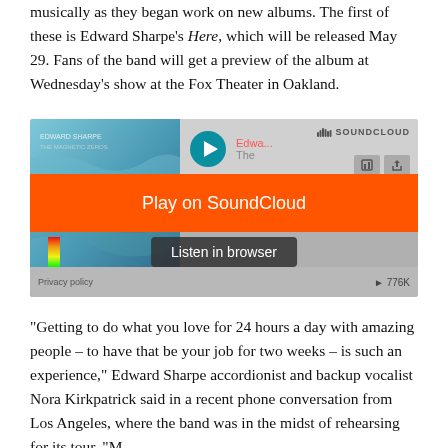musically as they began work on new albums. The first of these is Edward Sharpe's Here, which will be released May 29. Fans of the band will get a preview of the album at Wednesday's show at the Fox Theater in Oakland.
[Figure (screenshot): SoundCloud embedded player widget showing an Edward Sharpe track with album art, play button, 'Play on SoundCloud' orange overlay button, 'Listen in browser' button, Privacy policy link, and 776K play count.]
“Getting to do what you love for 24 hours a day with amazing people – to have that be your job for two weeks – is such an experience,” Edward Sharpe accordionist and backup vocalist Nora Kirkpatrick said in a recent phone conversation from Los Angeles, where the band was in the midst of rehearsing for its tour. “M...